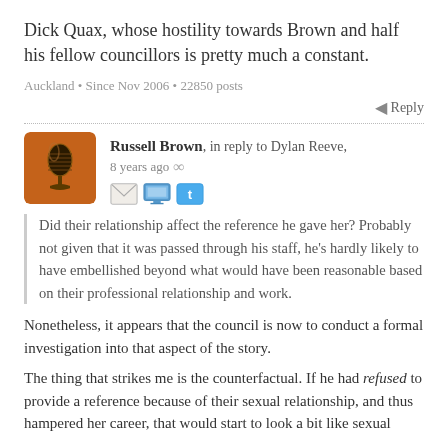Dick Quax, whose hostility towards Brown and half his fellow councillors is pretty much a constant.
Auckland • Since Nov 2006 • 22850 posts
Reply
[Figure (illustration): Orange avatar with a vintage microphone icon]
Russell Brown, in reply to Dylan Reeve, 8 years ago ∞
Did their relationship affect the reference he gave her? Probably not given that it was passed through his staff, he's hardly likely to have embellished beyond what would have been reasonable based on their professional relationship and work.
Nonetheless, it appears that the council is now to conduct a formal investigation into that aspect of the story.
The thing that strikes me is the counterfactual. If he had refused to provide a reference because of their sexual relationship, and thus hampered her career, that would start to look a bit like sexual